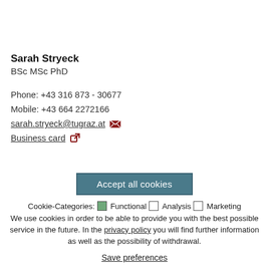Sarah Stryeck
BSc MSc PhD
Phone: +43 316 873 - 30677
Mobile: +43 664 2272166
sarah.stryeck@tugraz.at
Business card
Accept all cookies
Cookie-Categories: ☑ Functional ☐ Analysis ☐ Marketing
We use cookies in order to be able to provide you with the best possible service in the future. In the privacy policy you will find further information as well as the possibility of withdrawal.
Save preferences